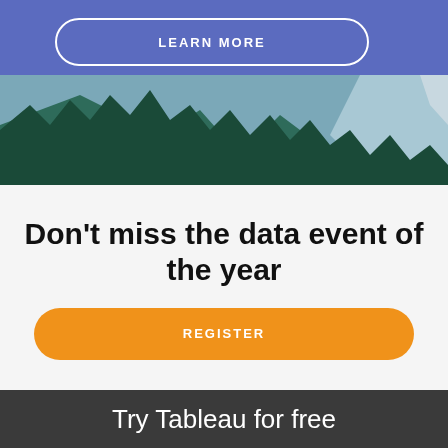[Figure (illustration): Banner with blue/purple background, 'LEARN MORE' button with white rounded border outline, and illustrated mountain/forest landscape at bottom with teal and dark green trees and light blue cliffs]
Don't miss the data event of the year
[Figure (other): Orange rounded button with text 'REGISTER' in white uppercase letters]
Try Tableau for free